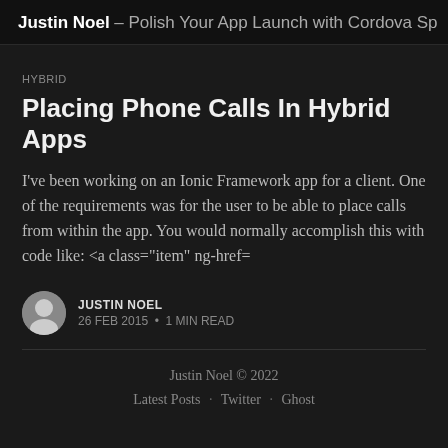Justin Noel – Polish Your App Launch with Cordova Sp
HYBRID
Placing Phone Calls In Hybrid Apps
I've been working on an Ionic Framework app for a client. One of the requirements was for the user to be able to place calls from within the app. You would normally accomplish this with code like: <a class="item" ng-href=
JUSTIN NOEL
26 FEB 2015 • 1 MIN READ
Justin Noel © 2022
Latest Posts · Twitter · Ghost